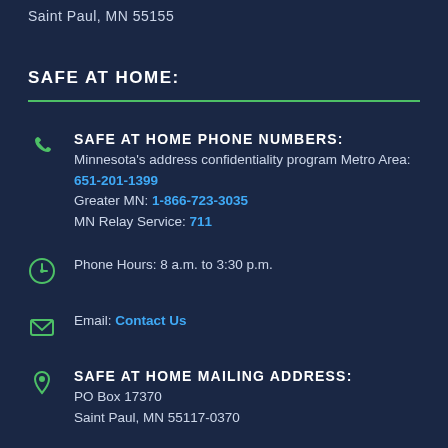Saint Paul, MN 55155
SAFE AT HOME:
SAFE AT HOME PHONE NUMBERS: Minnesota's address confidentiality program Metro Area: 651-201-1399 Greater MN: 1-866-723-3035 MN Relay Service: 711
Phone Hours: 8 a.m. to 3:30 p.m.
Email: Contact Us
SAFE AT HOME MAILING ADDRESS: PO Box 17370 Saint Paul, MN 55117-0370